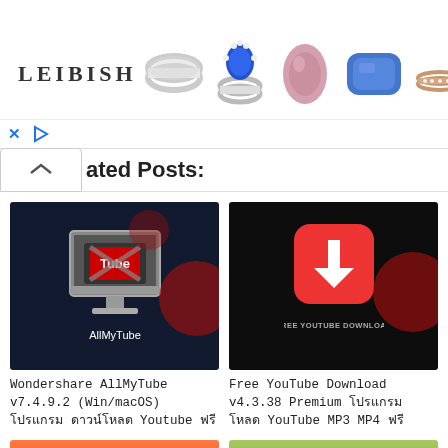[Figure (other): Leibish jewelry advertisement banner with logo and product images of rings, gemstones]
[Figure (other): Ad controls bar with X close button and play button]
ated Posts:
[Figure (screenshot): AllMyTube application thumbnail screenshot with YouTube logo on monitor]
Wondershare AllMyTube v7.4.9.2 (Win/macOS) โปรแกรม ดาวน์โหลด Youtube ฟรี
[Figure (screenshot): Free YouTube Download application thumbnail with download arrow icon]
Free YouTube Download v4.3.38 Premium โปรแกรม โหลด YouTube MP3 MP4 ฟรี
[Figure (screenshot): Third software thumbnail with download icon on red/orange background]
[Figure (screenshot): Fourth software thumbnail with green cloud and film strip icon]